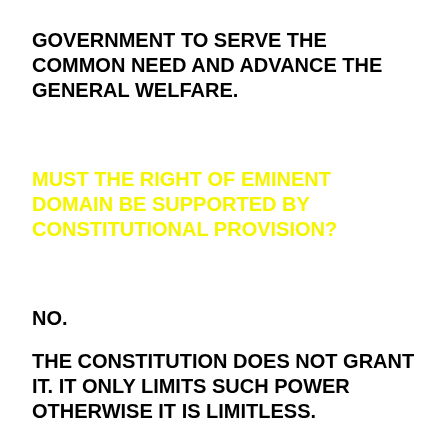GOVERNMENT TO SERVE THE COMMON NEED AND ADVANCE THE GENERAL WELFARE.
MUST THE RIGHT OF EMINENT DOMAIN BE SUPPORTED BY CONSTITUTIONAL PROVISION?
NO.
THE CONSTITUTION DOES NOT GRANT IT. IT ONLY LIMITS SUCH POWER OTHERWISE IT IS LIMITLESS.
IN OUR CONSTITUTION HOW IS IT LIMITED?